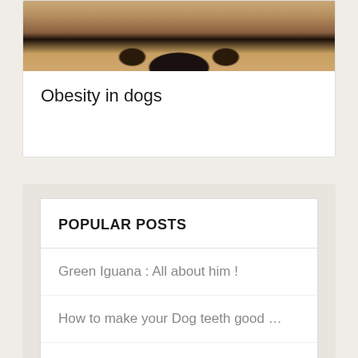[Figure (photo): Close-up photo of a dog's face, showing the nose and muzzle area with tan/brown fur]
Obesity in dogs
POPULAR POSTS
Green Iguana : All about him !
How to make your Dog teeth good …
how to protect your dog from 10 …
Aromatherapy: for dogs too!